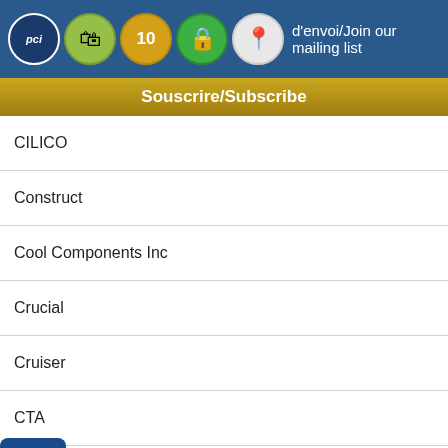d'envoi/Join our mailing list
Souscrire/Subscribe
CILICO
Construct
Cool Components Inc
Crucial
Cruiser
CTA
Cyber Acoustics
Cyber Solutions
CyberPower
D-Li
D
DAT
Someone in Chicoutimi, Canada purchased a 6.5 ft. TechCraft Dual Link DVI-D Male to DVI-D Male Cable - 9.95 Gbps - Black
DDROWER